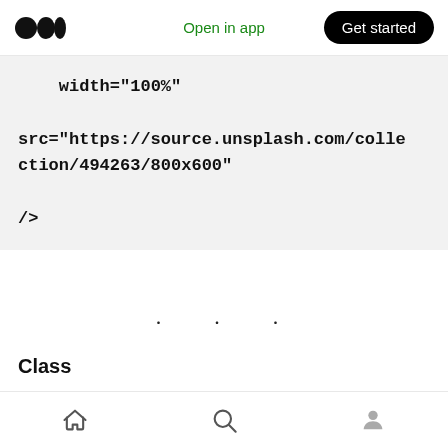Open in app  Get started
width="100%"

src="https://source.unsplash.com/collection/494263/800x600"

/>
· · ·
Class
Sometimes we try to convert an HTML template into reactjs and nextjs. Then every time I forget
home  search  profile